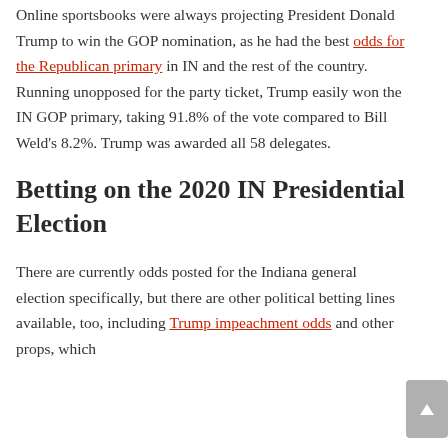Online sportsbooks were always projecting President Donald Trump to win the GOP nomination, as he had the best odds for the Republican primary in IN and the rest of the country. Running unopposed for the party ticket, Trump easily won the IN GOP primary, taking 91.8% of the vote compared to Bill Weld's 8.2%. Trump was awarded all 58 delegates.
Betting on the 2020 IN Presidential Election
There are currently odds posted for the Indiana general election specifically, but there are other political betting lines available, too, including Trump impeachment odds and other props, which